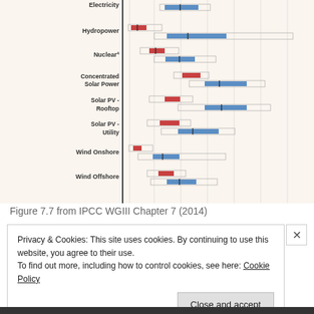[Figure (other): Horizontal range/box chart showing lifecycle greenhouse gas emissions for electricity generation technologies: Electricity, Hydropower, Nuclear, Concentrated Solar Power, Solar PV - Rooftop, Solar PV - Utility, Wind Onshore, Wind Offshore. Each technology has two rows of ranges - red (upper) and blue (lower) horizontal box plots with center marks.]
Figure 7.7 from IPCC WGIII Chapter 7 (2014)
Privacy & Cookies: This site uses cookies. By continuing to use this website, you agree to their use.
To find out more, including how to control cookies, see here: Cookie Policy